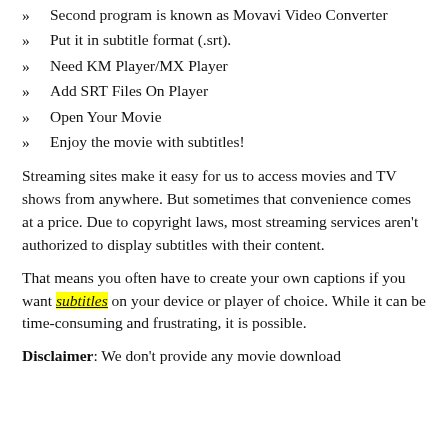Second program is known as Movavi Video Converter
Put it in subtitle format (.srt).
Need KM Player/MX Player
Add SRT Files On Player
Open Your Movie
Enjoy the movie with subtitles!
Streaming sites make it easy for us to access movies and TV shows from anywhere. But sometimes that convenience comes at a price. Due to copyright laws, most streaming services aren’t authorized to display subtitles with their content.
That means you often have to create your own captions if you want subtitles on your device or player of choice. While it can be time-consuming and frustrating, it is possible.
Disclaimer: We don’t provide any movie download